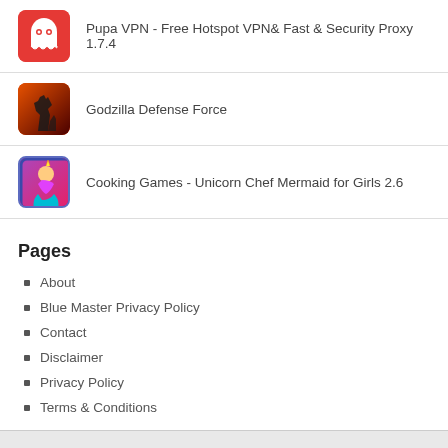[Figure (screenshot): App icon for Pupa VPN - red background with white ghost-like character]
Pupa VPN - Free Hotspot VPN& Fast & Security Proxy 1.7.4
[Figure (screenshot): App icon for Godzilla Defense Force - orange/dark background with Godzilla silhouette]
Godzilla Defense Force
[Figure (screenshot): App icon for Cooking Games - purple/pink gradient with unicorn chef mermaid]
Cooking Games - Unicorn Chef Mermaid for Girls 2.6
Pages
About
Blue Master Privacy Policy
Contact
Disclaimer
Privacy Policy
Terms & Conditions
Copyright© 2021 Sabaiydee